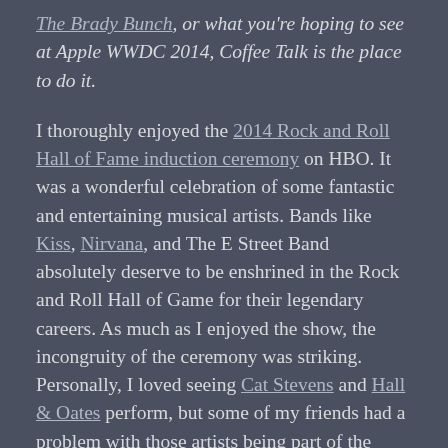The Brady Bunch, or what you're hoping to see at Apple WWDC 2014, Coffee Talk is the place to do it.

I thoroughly enjoyed the 2014 Rock and Roll Hall of Fame induction ceremony on HBO. It was a wonderful celebration of some fantastic and entertaining musical artists. Bands like Kiss, Nirvana, and The E Street Band absolutely deserve to be enshrined in the Rock and Roll Hall of Game for their legendary careers. As much as I enjoyed the show, the incongruity of the ceremony was striking. Personally, I loved seeing Cat Stevens and Hall & Oates perform, but some of my friends had a problem with those artists being part of the show. What do you think of talents like Peter Gabriel, Linda